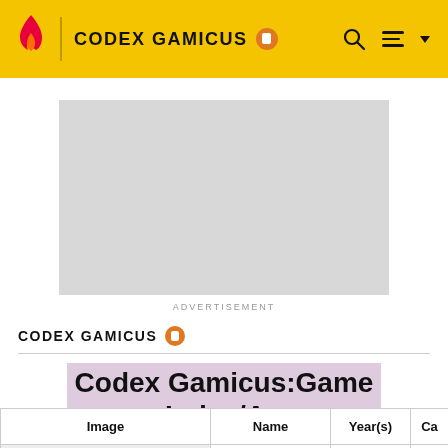CODEX GAMICUS
[Figure (screenshot): Advertisement placeholder banner (grey rectangle)]
ADVERTISEMENT
CODEX GAMICUS
Codex Gamicus:Game Index/Ag
EDIT
| Image | Name | Year(s) | Ca... |
| --- | --- | --- | --- |
| [image] | AGAINST | 2021 |  |